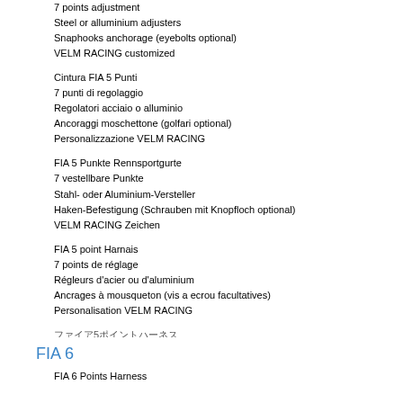7 points adjustment
Steel or alluminium adjusters
Snaphooks anchorage (eyebolts optional)
VELM RACING customized
Cintura FIA 5 Punti
7 punti di regolaggio
Regolatori acciaio o alluminio
Ancoraggi moschettone (golfari optional)
Personalizzazione VELM RACING
FIA 5 Punkte Rennsportgurte
7 vestellbare Punkte
Stahl- oder Aluminium-Versteller
Haken-Befestigung (Schrauben mit Knopfloch optional)
VELM RACING Zeichen
FIA 5 point Harnais
7 points de réglage
Régleurs d'acier ou d'aluminium
Ancrages à mousqueton (vis a ecrou facultatives)
Personalisation VELM RACING
FIA5ポイントハーネス
7調整点
スチール又はアルミニウム調整器
スナップフック固定 (アイボルトオプション)
"VELMレーシング"表示
FIA 6
FIA 6 Points Harness